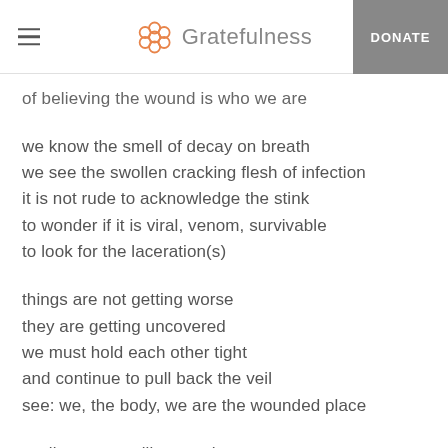Gratefulness | DONATE
of believing the wound is who we are
we know the smell of decay on breath
we see the swollen cracking flesh of infection
it is not rude to acknowledge the stink
to wonder if it is viral, venom, survivable
to look for the laceration(s)
things are not getting worse
they are getting uncovered
we must hold each other tight
and continue to pull back the veil
see: we, the body, we are the wounded place
we live on a resilient earth